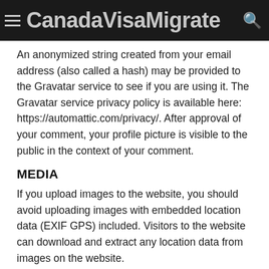CanadaVisaMigrate
An anonymized string created from your email address (also called a hash) may be provided to the Gravatar service to see if you are using it. The Gravatar service privacy policy is available here: https://automattic.com/privacy/. After approval of your comment, your profile picture is visible to the public in the context of your comment.
MEDIA
If you upload images to the website, you should avoid uploading images with embedded location data (EXIF GPS) included. Visitors to the website can download and extract any location data from images on the website.
CONTACT FORMS
COOKIES